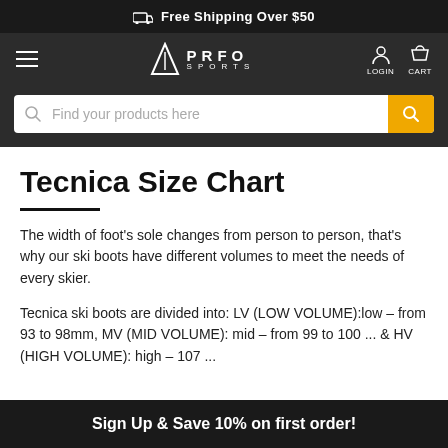Free Shipping Over $50
PRFO SPORTS
Find your products here
Tecnica Size Chart
The width of foot's sole changes from person to person, that's why our ski boots have different volumes to meet the needs of every skier.
Tecnica ski boots are divided into: LV (LOW VOLUME):low – from 93 to 98mm, MV (MID VOLUME): mid – from 99 to 100 ... & HV (HIGH VOLUME): high – 107 ...
Sign Up & Save 10% on first order!